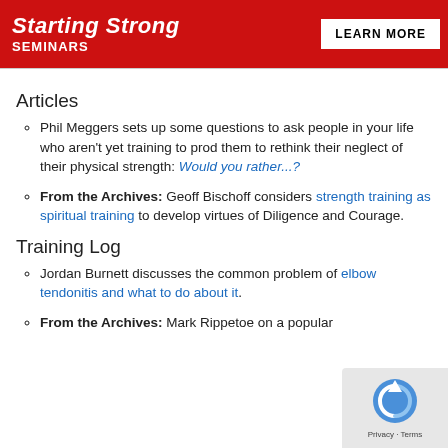Starting Strong Seminars | LEARN MORE
Articles
Phil Meggers sets up some questions to ask people in your life who aren't yet training to prod them to rethink their neglect of their physical strength: Would you rather...?
From the Archives: Geoff Bischoff considers strength training as spiritual training to develop virtues of Diligence and Courage.
Training Log
Jordan Burnett discusses the common problem of elbow tendonitis and what to do about it.
From the Archives: Mark Rippetoe on a popular